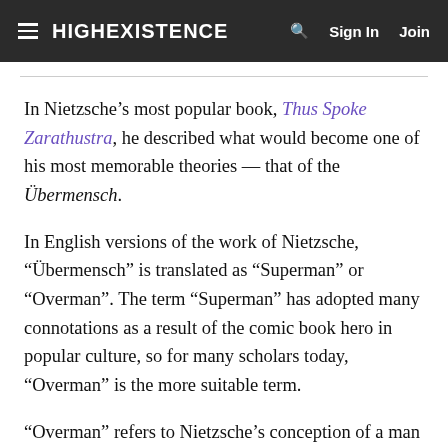HIGHEXISTENCE  Sign In  Join
In Nietzsche’s most popular book, Thus Spoke Zarathustra, he described what would become one of his most memorable theories — that of the Übermensch.
In English versions of the work of Nietzsche, “Übermensch” is translated as “Superman” or “Overman”. The term “Superman” has adopted many connotations as a result of the comic book hero in popular culture, so for many scholars today, “Overman” is the more suitable term.
“Overman” refers to Nietzsche’s conception of a man who has literally overcome himself and human